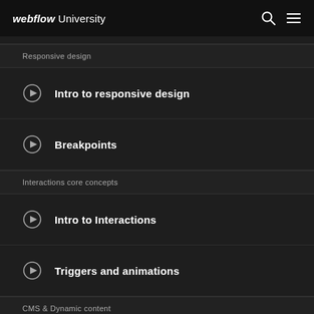webflow University
Responsive design
Intro to responsive design
Breakpoints
Interactions core concepts
Intro to Interactions
Triggers and animations
CMS & Dynamic content
Overview dynamic content